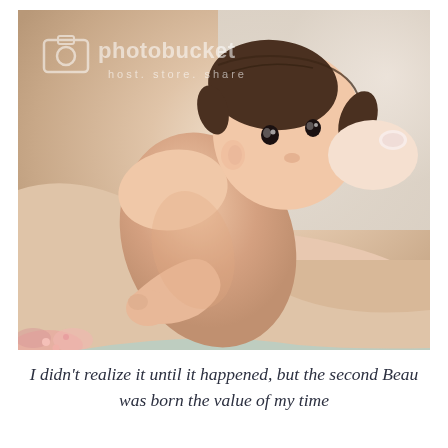[Figure (photo): A newborn baby with dark hair being held in an adult's arms against a light background. A Photobucket watermark is visible on the image.]
I didn't realize it until it happened, but the second Beau was born the value of my time